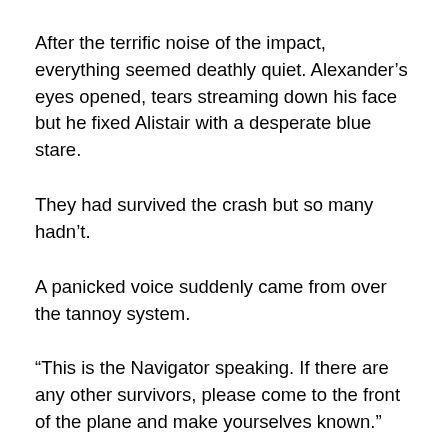After the terrific noise of the impact, everything seemed deathly quiet. Alexander's eyes opened, tears streaming down his face but he fixed Alistair with a desperate blue stare.
They had survived the crash but so many hadn't.
A panicked voice suddenly came from over the tannoy system.
“This is the Navigator speaking. If there are any other survivors, please come to the front of the plane and make yourselves known.”
Together Alistair and Alexander got up from their chair